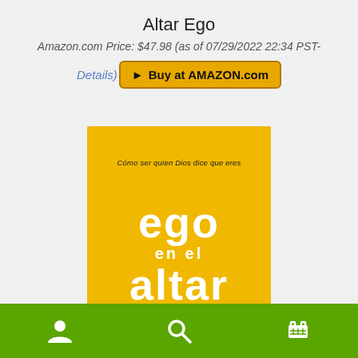Altar Ego
Amazon.com Price: $47.98 (as of 07/29/2022 22:34 PST-
Details)  ► Buy at AMAZON.com
[Figure (photo): Book cover of 'ego en el altar' with yellow/golden background, subtitle 'Cómo ser quien Dios dice que eres', and large white bold text 'ego en el altar']
Navigation bar with user, search, and cart icons